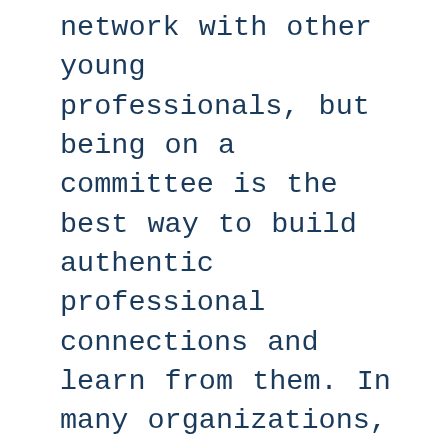network with other young professionals, but being on a committee is the best way to build authentic professional connections and learn from them. In many organizations, every person has a different job or set of tasks. When you work alongside someone with the same task, you get exposed to different work styles or get to mentor someone else to achieve good execution (we smell supervisory experience for that promotion you wanted!!). Did you just start a new job in marketing and want to get more experience under your belt? Join the Communications committee. Bec...